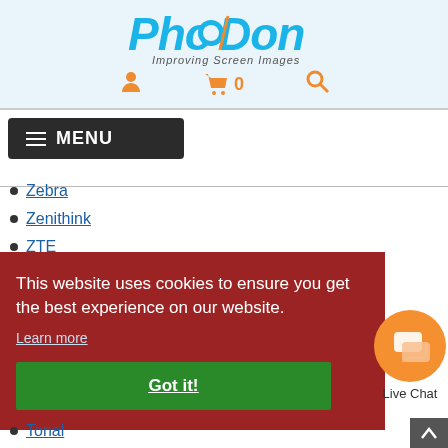[Figure (logo): PhotoDon logo with tagline 'Improving Screen Images']
Zebra
Zenithink
ZTE
This website uses cookies to ensure you get the best experience on our website. Learn more
Got it!
Live Chat
Tonal